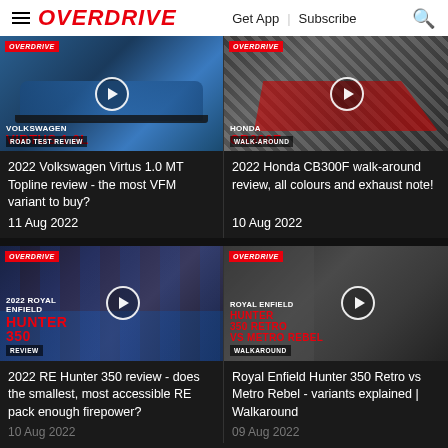OVERDRIVE | Get App | Subscribe
[Figure (screenshot): Volkswagen Virtus 1.0L car thumbnail with OVERDRIVE badge and play button, Road Test Review]
2022 Volkswagen Virtus 1.0 MT Topline review - the most VFM variant to buy?
11 Aug 2022
[Figure (screenshot): Honda CB300F motorcycle thumbnail with OVERDRIVE badge and play button, Walk-Around]
2022 Honda CB300F walk-around review, all colours and exhaust note!
10 Aug 2022
[Figure (screenshot): 2022 Royal Enfield Hunter 350 review thumbnail with OVERDRIVE badge and play button, Review]
2022 RE Hunter 350 review - does the smallest, most accessible RE pack enough firepower?
[Figure (screenshot): Royal Enfield Hunter 350 Retro vs Metro Rebel walkaround thumbnail with OVERDRIVE badge and play button]
Royal Enfield Hunter 350 Retro vs Metro Rebel - variants explained | Walkaround